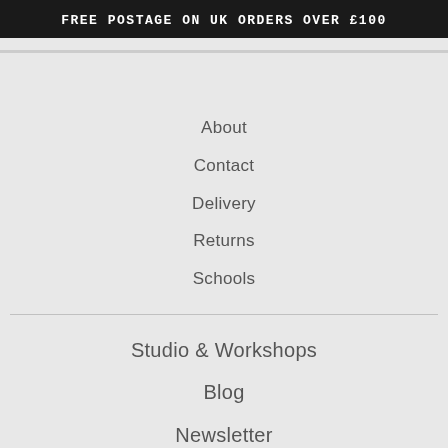Free postage on UK orders over £100
About
Contact
Delivery
Returns
Schools
Studio & Workshops
Blog
Newsletter
Paper Instructions
Video Instructions
Gift Vouchers
MSDS